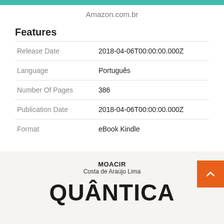Amazon.com.br
Features
|  |  |
| --- | --- |
| Release Date | 2018-04-06T00:00:00.000Z |
| Language | Português |
| Number Of Pages | 386 |
| Publication Date | 2018-04-06T00:00:00.000Z |
| Format | eBook Kindle |
[Figure (photo): Book cover preview showing author name MOACIR Costa de Araújo Lima and the beginning of the book title QUÂNTICA]